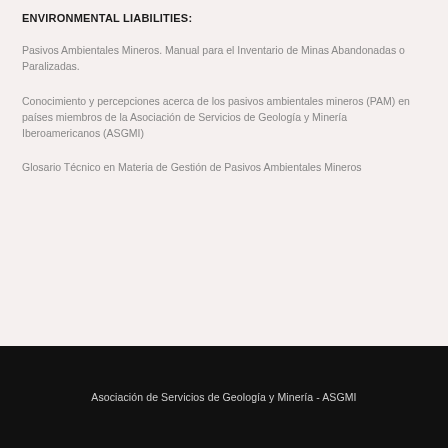ENVIRONMENTAL LIABILITIES:
Pasivos Ambientales Mineros. Manual para el Inventario de Minas Abandonadas o Paralizadas.
Conocimiento y percepciones acerca de los pasivos ambientales mineros (PAM) en países miembros de la Asociación de Servicios de Geología y Minería Iberoamericanos (ASGMI)
Glosario Técnico en Materia de Gestión de Pasivos Ambientales Mineros
Asociación de Servicios de Geología y Minería - ASGMI